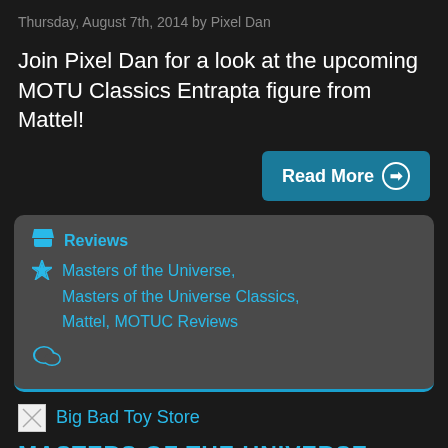Thursday, August 7th, 2014 by Pixel Dan
Join Pixel Dan for a look at the upcoming MOTU Classics Entrapta figure from Mattel!
Read More →
Reviews
Masters of the Universe, Masters of the Universe Classics, Mattel, MOTUC Reviews
[Figure (other): Comment bubble icon]
Big Bad Toy Store
MASTERS OF THE UNIVERSE CLASSICS